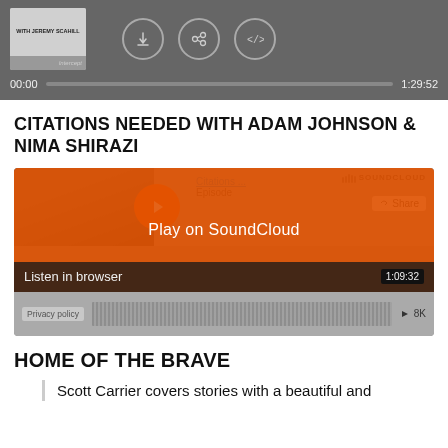[Figure (screenshot): Audio player with album art showing 'WITH JEREMY SCAHILL', download/link/embed icons, progress bar showing 00:00 to 1:29:52]
CITATIONS NEEDED WITH ADAM JOHNSON & NIMA SHIRAZI
[Figure (screenshot): SoundCloud embedded player with play button overlay, 'Play on SoundCloud' orange button, 'Listen in browser' bar, and duration 1:09:32. Privacy policy and 8K shown at bottom.]
HOME OF THE BRAVE
Scott Carrier covers stories with a beautiful and